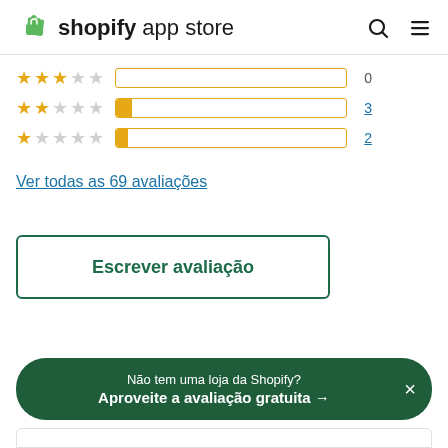shopify app store
[Figure (bar-chart): Star rating distribution]
Ver todas as 69 avaliações
Escrever avaliação
Não tem uma loja da Shopify?
Aproveite a avaliação gratuita →